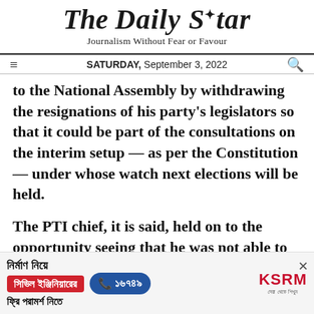The Daily Star — Journalism Without Fear or Favour — SATURDAY, September 3, 2022
to the National Assembly by withdrawing the resignations of his party's legislators so that it could be part of the consultations on the interim setup — as per the Constitution — under whose watch next elections will be held.
The PTI chief, it is said, held on to the opportunity seeing that he was not able to pull out the numbers that he had expected, especially from Punjab — the government's crackdown
[Figure (advertisement): KSRM advertisement in Bengali: construction civil engineering free consultation, phone number 16749, KSRM brand logo]